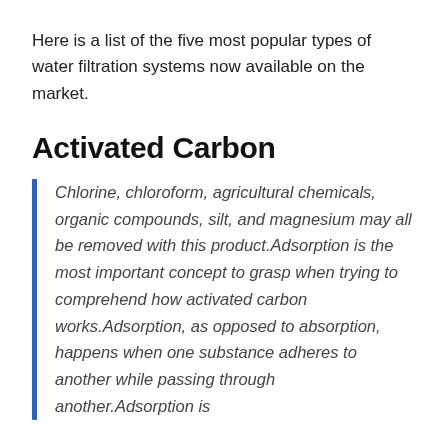Here is a list of the five most popular types of water filtration systems now available on the market.
Activated Carbon
Chlorine, chloroform, agricultural chemicals, organic compounds, silt, and magnesium may all be removed with this product.Adsorption is the most important concept to grasp when trying to comprehend how activated carbon works.Adsorption, as opposed to absorption, happens when one substance adheres to another while passing through another.Adsorption is